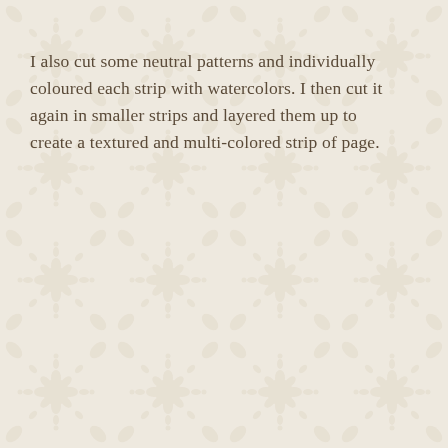I also cut some neutral patterns and individually coloured each strip with watercolors. I then cut it again in smaller strips and layered them up to create a textured and multi-colored strip of page.